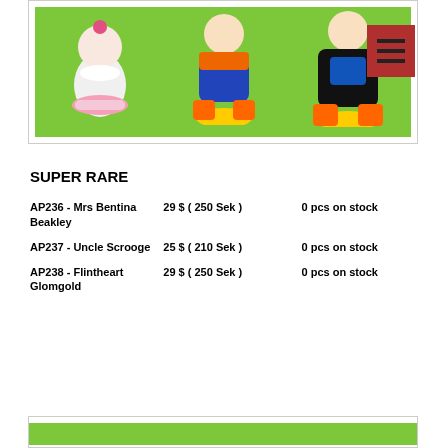[Figure (photo): Photo of three cartoon/duck figurines on a green background, with a hamburger menu icon button in the top right corner overlay]
SUPER RARE
AP236 - Mrs Bentina Beakley   29 $ ( 250 Sek )   0 pcs on stock
AP237 - Uncle Scrooge   25 $ ( 210 Sek )   0 pcs on stock
AP238 - Flintheart Glomgold   29 $ ( 250 Sek )   0 pcs on stock
[Figure (photo): Partial view of another green-background product photo card at the bottom of the page]